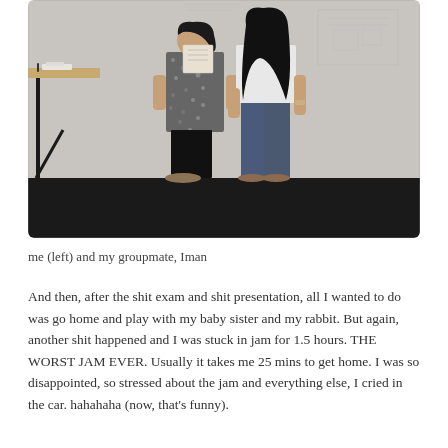[Figure (photo): Two women standing side by side in what appears to be a studio or classroom. The woman on the left wears a floral/patterned dress with black leggings and sandals, and holds a model or object. The woman on the right wears a white top with dark jeans and flats. Behind them is a white wall with drawings/plans pinned up, and a wooden desk with a black leg is partially visible on the left.]
me (left) and my groupmate, Iman
And then, after the shit exam and shit presentation, all I wanted to do was go home and play with my baby sister and my rabbit. But again, another shit happened and I was stuck in jam for 1.5 hours. THE WORST JAM EVER. Usually it takes me 25 mins to get home. I was so disappointed, so stressed about the jam and everything else, I cried in the car. hahahaha (now, that’s funny).